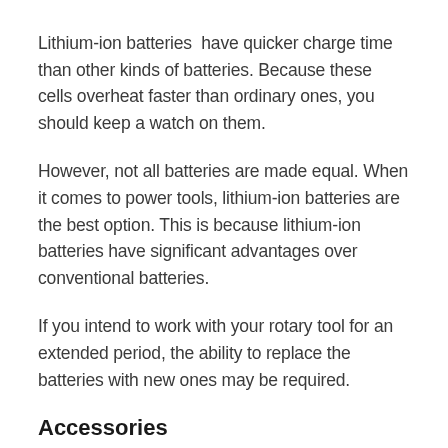Lithium-ion batteries  have quicker charge time than other kinds of batteries. Because these cells overheat faster than ordinary ones, you should keep a watch on them.
However, not all batteries are made equal. When it comes to power tools, lithium-ion batteries are the best option. This is because lithium-ion batteries have significant advantages over conventional batteries.
If you intend to work with your rotary tool for an extended period, the ability to replace the batteries with new ones may be required.
Accessories